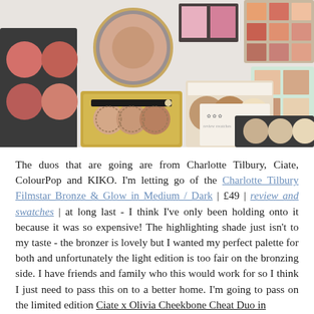[Figure (photo): Flat lay photo of multiple makeup palettes including bronzers, blushers, highlighters and contour products from various brands, arranged on a white surface. Products include round compact palettes, rectangular multi-pan palettes, and a gold compact with a brush.]
The duos that are going are from Charlotte Tilbury, Ciate, ColourPop and KIKO. I'm letting go of the Charlotte Tilbury Filmstar Bronze & Glow in Medium / Dark | £49 | review and swatches | at long last - I think I've only been holding onto it because it was so expensive! The highlighting shade just isn't to my taste - the bronzer is lovely but I wanted my perfect palette for both and unfortunately the light edition is too fair on the bronzing side. I have friends and family who this would work for so I think I just need to pass this on to a better home. I'm going to pass on the limited edition Ciate x Olivia Cheekbone Cheat Duo in